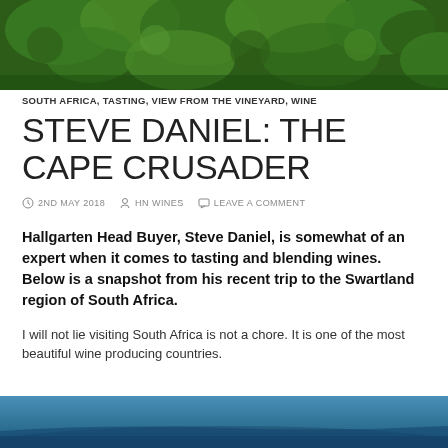[Figure (photo): Dense green foliage/vegetation header image, top of page]
SOUTH AFRICA, TASTING, VIEW FROM THE VINEYARD, WINE
STEVE DANIEL: THE CAPE CRUSADER
2ND MAY 2018   HN WINES   LEAVE A COMMENT
Hallgarten Head Buyer, Steve Daniel, is somewhat of an expert when it comes to tasting and blending wines. Below is a snapshot from his recent trip to the Swartland region of South Africa.
I will not lie visiting South Africa is not a chore. It is one of the most beautiful wine producing countries.
[Figure (photo): Blue-toned landscape image, bottom of page, partially visible]